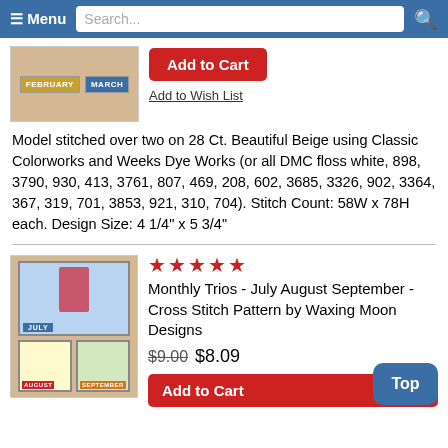Menu  Search...
[Figure (photo): Cross stitch pattern thumbnail showing February and March month tags on beige fabric]
Add to Cart
Add to Wish List
Model stitched over two on 28 Ct. Beautiful Beige using Classic Colorworks and Weeks Dye Works (or all DMC floss white, 898, 3790, 930, 413, 3761, 807, 469, 208, 602, 3685, 3326, 902, 3364, 367, 319, 701, 3853, 921, 310, 704). Stitch Count: 58W x 78H each. Design Size: 4 1/4" x 5 3/4"
[Figure (photo): Cross stitch pattern thumbnail showing July, August, September month designs on beige fabric with patriotic uncle sam figure, pig, and apple tree house]
Monthly Trios - July August September - Cross Stitch Pattern by Waxing Moon Designs
$9.00 $8.09
Add to Cart